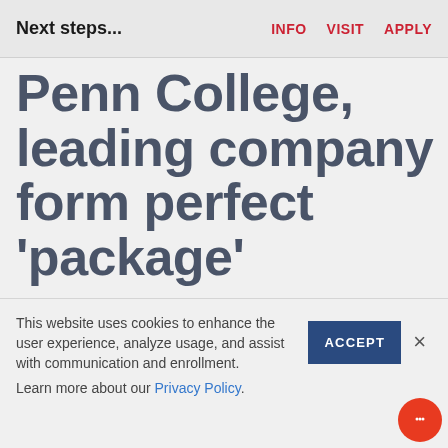Next steps...  INFO  VISIT  APPLY
Penn College, leading company form perfect 'package'
On the surface, the three men have little in common. One looks like a vibrant, distinguished grandfather with his neatly trimmed white goatee and confident gait.
This website uses cookies to enhance the user experience, analyze usage, and assist with communication and enrollment.
Learn more about our Privacy Policy.